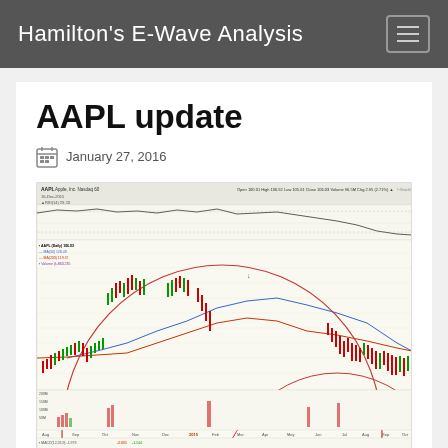Hamilton's E-Wave Analysis
AAPL update
January 27, 2016
[Figure (continuous-plot): AAPL Apple Inc Nasdaq stock chart showing daily candlestick price action with moving averages (MA50 and MA200), RSI indicator, volume bars, MACD indicator, and large circular arc overlays suggesting Elliott Wave analysis. Chart spans approximately Aug 2014 to Jan 2016. Price ranges from roughly $90 to $134. Shows RSI(14), MACD(12,26,9) panels below main price chart. A second partial chart panel is visible at the bottom showing a zoomed or different timeframe view. Open 100.01, High 106.92, Low 105.61, Close 106.03, Volume 96.5M, Chg 2.95 (2.71%). StockCharts.com watermark visible.]